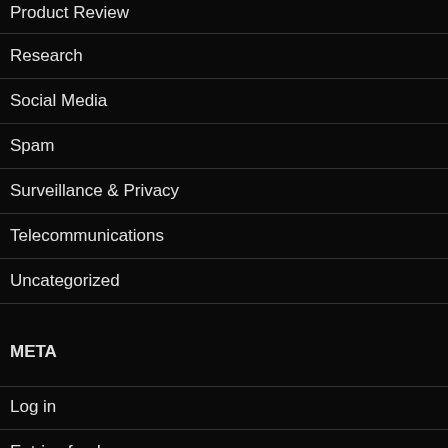Product Review
Research
Social Media
Spam
Surveillance & Privacy
Telecommunications
Uncategorized
META
Log in
Entries feed
Comments feed